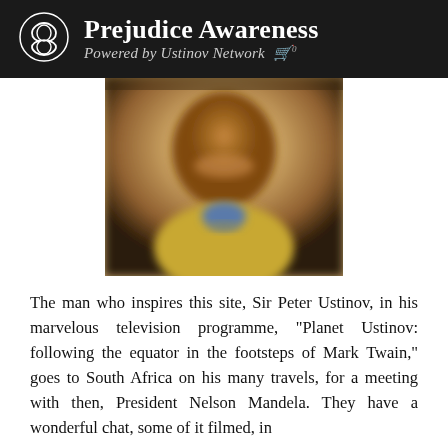Prejudice Awareness Powered by Ustinov Network
[Figure (photo): Blurred photograph of an elderly person smiling, wearing a tan/gold jacket and blue collar, with earrings visible.]
The man who inspires this site, Sir Peter Ustinov, in his marvelous television programme, "Planet Ustinov: following the equator in the footsteps of Mark Twain," goes to South Africa on his many travels, for a meeting with then, President Nelson Mandela. They have a wonderful chat, some of it filmed, in